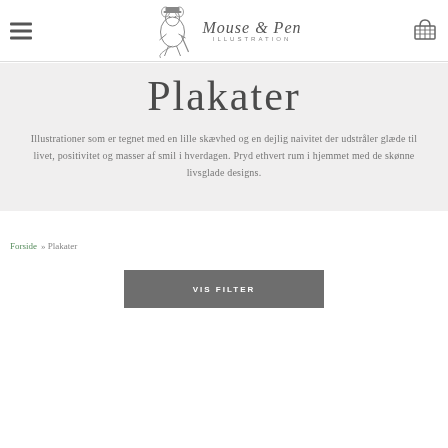Mouse & Pen Illustration — navigation header with hamburger menu and cart icon
Plakater
Illustrationer som er tegnet med en lille skævhed og en dejlig naivitet der udstråler glæde til livet, positivitet og masser af smil i hverdagen. Pryd ethvert rum i hjemmet med de skønne livsglade designs.
Forside » Plakater
VIS FILTER